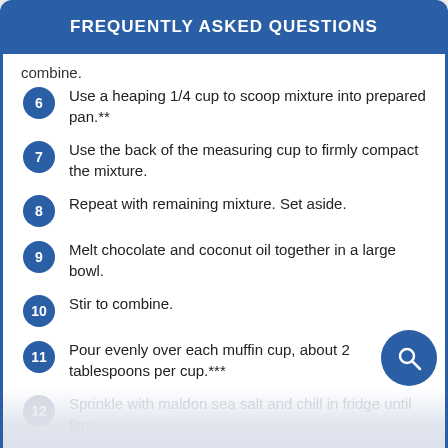FREQUENTLY ASKED QUESTIONS
combine.
6  Use a heaping 1/4 cup to scoop mixture into prepared pan.**
7  Use the back of the measuring cup to firmly compact the mixture.
8  Repeat with remaining mixture. Set aside.
9  Melt chocolate and coconut oil together in a large bowl.
10  Stir to combine.
11  Pour evenly over each muffin cup, about 2 tablespoons per cup.***
12  Sprinkle with maldon sea salt and chill in fridge until firm.